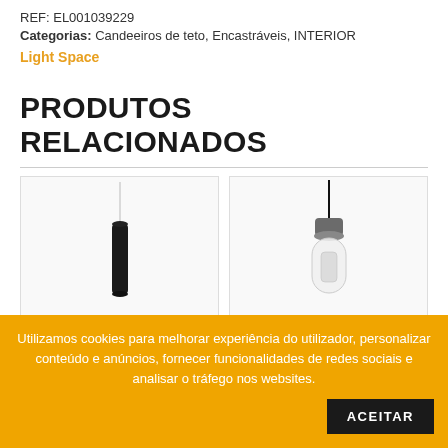REF: EL001039229
Categorias: Candeeiros de teto, Encastráveis, INTERIOR
Light Space
PRODUTOS RELACIONADOS
[Figure (photo): Cylindrical black pendant lamp hanging from a thin wire against white background]
[Figure (photo): Vintage-style bulb pendant lamp with dark metal cap and clear cylindrical glass shade on black cord]
Utilizamos cookies para melhorar experiência do utilizador, personalizar conteúdo e anúncios, fornecer funcionalidades de redes sociais e analisar o tráfego nos websites. ACEITAR